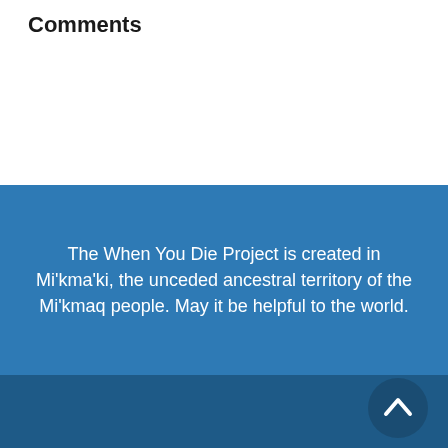Comments
The When You Die Project is created in Mi’kma’ki, the unceded ancestral territory of the Mi’kmaq people. May it be helpful to the world.
Follow Us